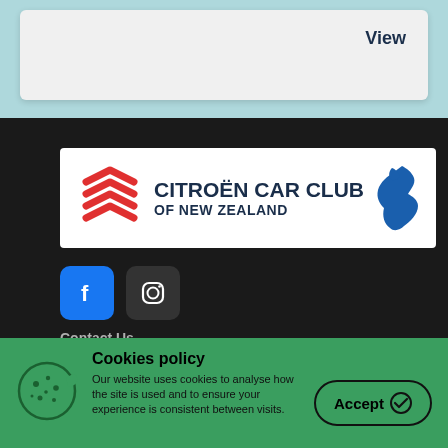View
[Figure (logo): Citroën Car Club of New Zealand logo — red double chevron icon, club name in dark navy bold text, blue silhouette map of New Zealand]
[Figure (other): Facebook and Instagram social media icon buttons]
Contact Us
Cookies policy
Our website uses cookies to analyse how the site is used and to ensure your experience is consistent between visits.
Accept